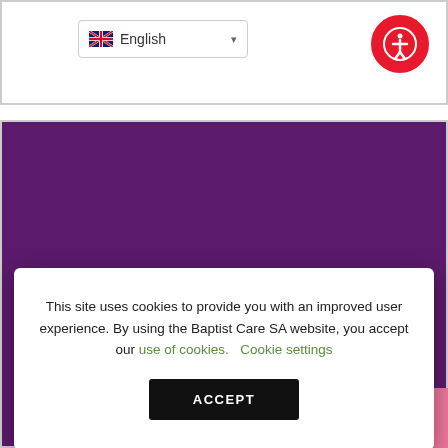English (language selector)
This site uses cookies to provide you with an improved user experience. By using the Baptist Care SA website, you accept our use of cookies. Cookie settings
ACCEPT
TEST - NO MATCHING POSTCODE